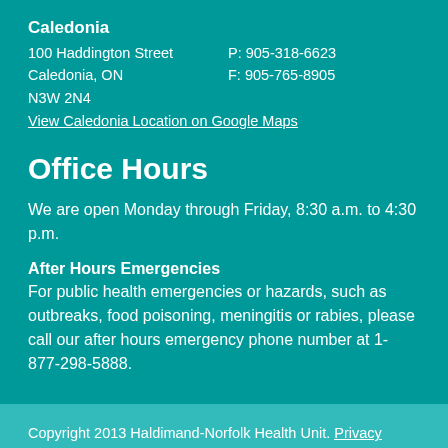Caledonia
100 Haddington Street  P: 905-318-6623
Caledonia, ON          F: 905-765-8905
N3W 2N4
View Caledonia Location on Google Maps
Office Hours
We are open Monday through Friday, 8:30 a.m. to 4:30 p.m.
After Hours Emergencies
For public health emergencies or hazards, such as outbreaks, food poisoning, meningitis or rabies, please call our after hours emergency phone number at 1-877-298-5888.
Copyright 2013 Haldimand-Norfolk Health Unit. Privacy Policy
Website by: Carbonated Interactive